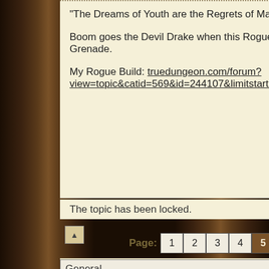"The Dreams of Youth are the Regrets of Maturity."
Boom goes the Devil Drake when this Rogue slides a 20 with a Holy Hand Grenade.
My Rogue Build: truedungeon.com/forum?view=topic&catid=569&id=244107&limitstart=0
The topic has been locked.
Page: 1 2 3 4 5 6 7 8 9